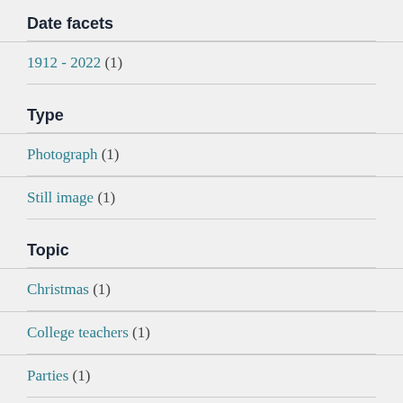Date facets
1912 - 2022 (1)
Type
Photograph (1)
Still image (1)
Topic
Christmas (1)
College teachers (1)
Parties (1)
Name Subject (Personal)